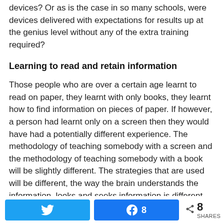devices? Or as is the case in so many schools, were devices delivered with expectations for results up at the genius level without any of the extra training required?
Learning to read and retain information
Those people who are over a certain age learnt to read on paper, they learnt with only books, they learnt how to find information on pieces of paper. If however, a person had learnt only on a screen then they would have had a potentially different experience. The methodology of teaching somebody with a screen and the methodology of teaching somebody with a book will be slightly different. The strategies that are used will be different, the way the brain understands the information, looks and seeks information is different. So no one should be
8 SHARES